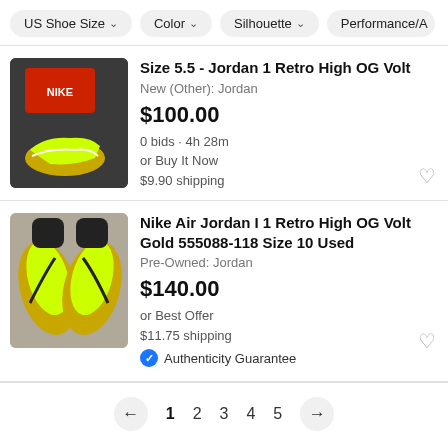US Shoe Size  Color  Silhouette  Performance/A
[Figure (photo): Photo of Jordan 1 Retro High OG Volt sneakers with Nike box on dark background]
Size 5.5 - Jordan 1 Retro High OG Volt
New (Other): Jordan
$100.00
0 bids · 4h 28m
or Buy It Now
$9.90 shipping
[Figure (photo): Photo of Nike Air Jordan I 1 Retro High OG Volt Gold sneakers on wooden floor, top-down view]
Nike Air Jordan I 1 Retro High OG Volt Gold 555088-118 Size 10 Used
Pre-Owned: Jordan
$140.00
or Best Offer
$11.75 shipping
Authenticity Guarantee
← 1 2 3 4 5 →